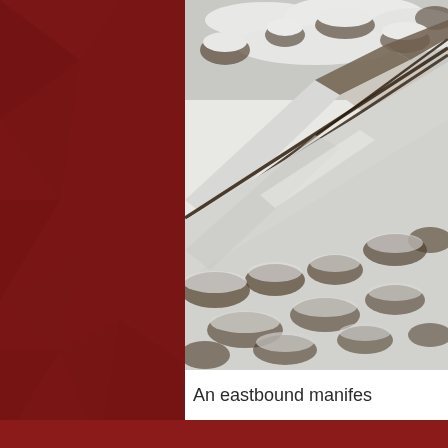[Figure (photo): Aerial or elevated view of snow-covered railroad tracks surrounded by snow-covered scrubby bushes and terrain, viewed from above at an angle. The tracks run diagonally across the image from lower-left to upper-right. The scene is wintry with white snow dominating the landscape.]
An eastbound manifes